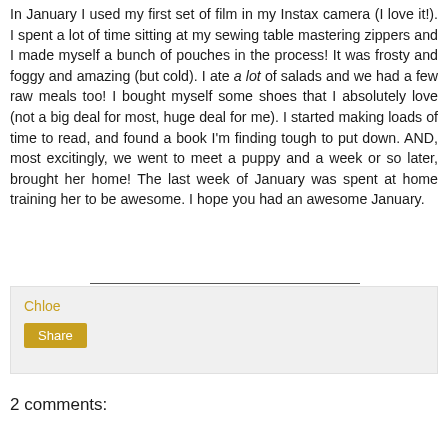In January I used my first set of film in my Instax camera (I love it!). I spent a lot of time sitting at my sewing table mastering zippers and I made myself a bunch of pouches in the process! It was frosty and foggy and amazing (but cold). I ate a lot of salads and we had a few raw meals too! I bought myself some shoes that I absolutely love (not a big deal for most, huge deal for me). I started making loads of time to read, and found a book I'm finding tough to put down. AND, most excitingly, we went to meet a puppy and a week or so later, brought her home! The last week of January was spent at home training her to be awesome. I hope you had an awesome January.
Chloe
Share
2 comments: